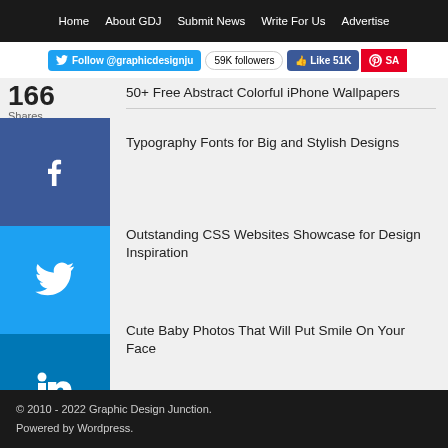Home | About GDJ | Submit News | Write For Us | Advertise
Follow @graphicdesignju | 59K followers | Like 51K | SA
166 Shares
50+ Free Abstract Colorful iPhone Wallpapers
Typography Fonts for Big and Stylish Designs
Outstanding CSS Websites Showcase for Design Inspiration
Cute Baby Photos That Will Put Smile On Your Face
Free Fonts: 50+ Remarkable Fonts For Designer
Fonts: 100+ Fresh and Free High-Quality Fonts
Vector Backgrounds: 50+ Abstract Vector Background and Wallpapers
Follow us on Facebook | Follow us on Instagram | Follow us on Stumbleupon | Connect on LinkedIn | Follow us on Pinterest
© 2010 - 2022 Graphic Design Junction.
Powered by Wordpress.